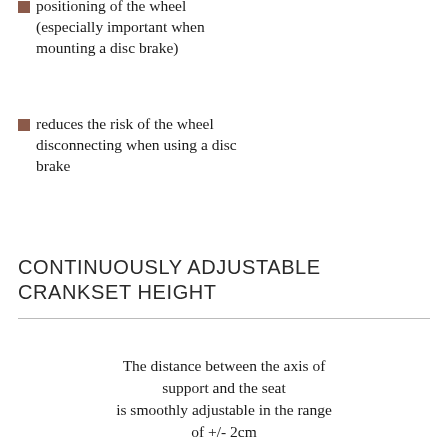positioning of the wheel (especially important when mounting a disc brake)
reduces the risk of the wheel disconnecting when using a disc brake
CONTINUOUSLY ADJUSTABLE CRANKSET HEIGHT
The distance between the axis of support and the seat is smoothly adjustable in the range of +/- 2cm from the distance requested in the JetBike order